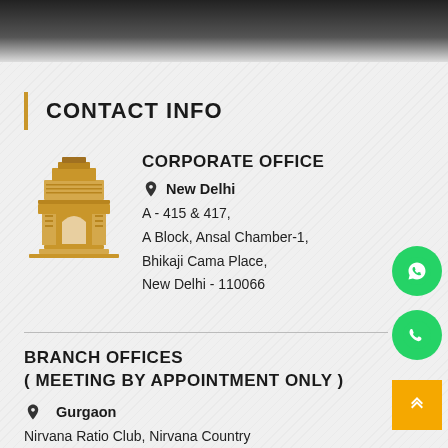[Figure (illustration): Dark top bar area showing partial view of a device or screen]
CONTACT INFO
CORPORATE OFFICE
New Delhi
A - 415 & 417,
A Block, Ansal Chamber-1,
Bhikaji Cama Place,
New Delhi - 110066
BRANCH OFFICES
( MEETING BY APPOINTMENT ONLY )
Gurgaon
Nirvana Ratio Club, Nirvana Country